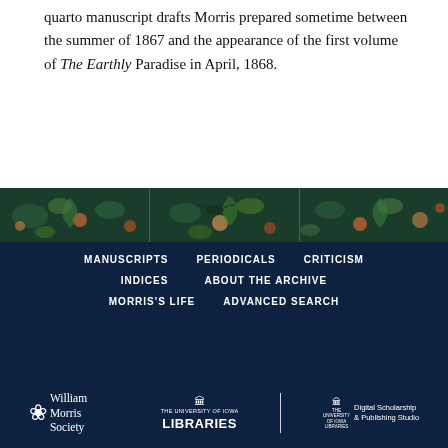quarto manuscript drafts Morris prepared sometime between the summer of 1867 and the appearance of the first volume of The Earthly Paradise in April, 1868.
[Figure (illustration): Decorative floral/botanical band with dark blue-green background, featuring illustrated flora and fauna in Arts and Crafts style]
MANUSCRIPTS   PERIODICALS   CRITICISM   INDICES   ABOUT THE ARCHIVE   MORRIS'S LIFE   ADVANCED SEARCH
[Figure (logo): William Morris Society logo, The University of Iowa Libraries logo, and The University of Iowa Libraries Digital Scholarship & Publishing Studio logo]